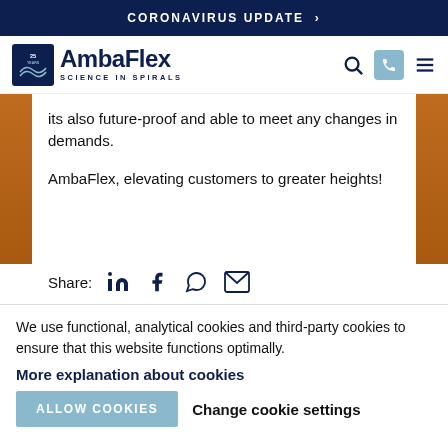CORONAVIRUS UPDATE >
[Figure (logo): AmbaFlex logo with '25 Years' badge and tagline 'SCIENCE IN SPIRALS']
its also future-proof and able to meet any changes in demands.
AmbaFlex, elevating customers to greater heights!
Share: [LinkedIn] [Facebook] [WhatsApp] [Email]
We use functional, analytical cookies and third-party cookies to ensure that this website functions optimally.
More explanation about cookies
ALLOW COOKIES    Change cookie settings